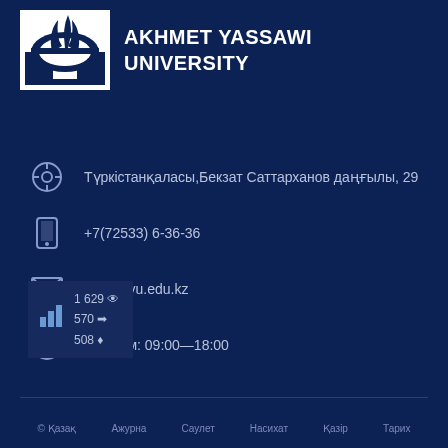AKHMET YASSAWI UNIVERSITY
Түркістанқаласы,Бекзат Саттарханов даңғылы, 29
+7(72533) 6-36-36
info@ayu.edu.kz
Дс—Жм: 09:00—18:00
1 629 👁 570 ➡ 508 ♦
© Қазақ   Ажурна   Саулет   Насихат   Қазір   Тарих